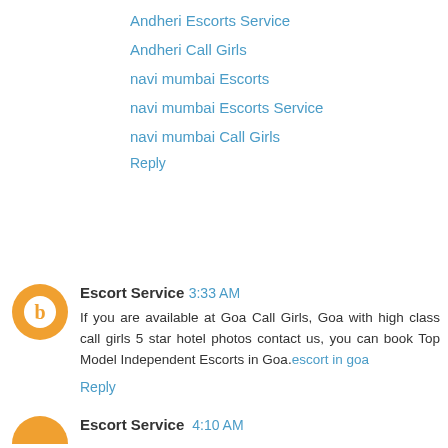Andheri Escorts Service
Andheri Call Girls
navi mumbai Escorts
navi mumbai Escorts Service
navi mumbai Call Girls
Reply
Escort Service  3:33 AM
If you are available at Goa Call Girls, Goa with high class call girls 5 star hotel photos contact us, you can book Top Model Independent Escorts in Goa.escort in goa
Reply
Escort Service  4:10 AM